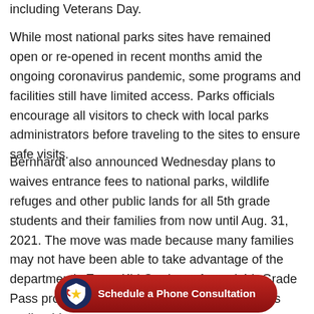including Veterans Day.
While most national parks sites have remained open or re-opened in recent months amid the ongoing coronavirus pandemic, some programs and facilities still have limited access. Parks officials encourage all visitors to check with local parks administrators before traveling to the sites to ensure safe visits.
Bernhardt also announced Wednesday plans to waives entrance fees to national parks, wildlife refuges and other public lands for all 5th grade students and their families from now until Aug. 31, 2021. The move was made because many families may not have been able to take advantage of the department's Every Kid Outdoors Annual 4th Grade Pass program because of pandemic precautions earlier thi...
[Figure (other): Schedule a Phone Consultation CTA button with star icon on dark red background]